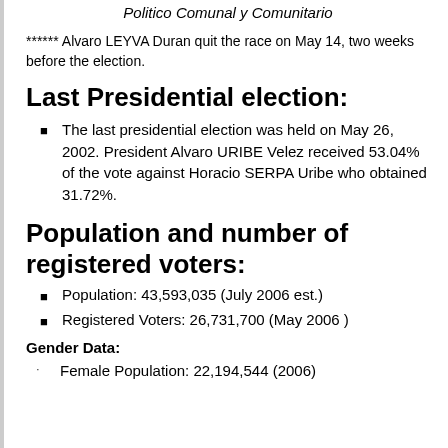Politico Comunal y Comunitario
****** Alvaro LEYVA Duran quit the race on May 14, two weeks before the election.
Last Presidential election:
The last presidential election was held on May 26, 2002. President Alvaro URIBE Velez received 53.04% of the vote against Horacio SERPA Uribe who obtained 31.72%.
Population and number of registered voters:
Population: 43,593,035 (July 2006 est.)
Registered Voters: 26,731,700 (May 2006 )
Gender Data:
Female Population: 22,194,544 (2006)